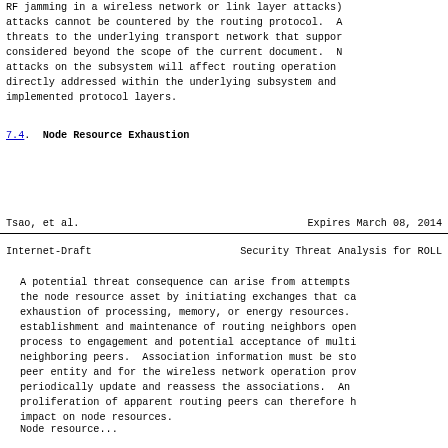RF jamming in a wireless network or link layer attacks) attacks cannot be countered by the routing protocol. A threats to the underlying transport network that suppor considered beyond the scope of the current document. N attacks on the subsystem will affect routing operation directly addressed within the underlying subsystem and implemented protocol layers.
7.4. Node Resource Exhaustion
Tsao, et al.                    Expires March 08, 2014
Internet-Draft        Security Threat Analysis for ROLL
A potential threat consequence can arise from attempts the node resource asset by initiating exchanges that ca exhaustion of processing, memory, or energy resources. establishment and maintenance of routing neighbors open process to engagement and potential acceptance of multi neighboring peers.  Association information must be sto peer entity and for the wireless network operation prov periodically update and reassess the associations.  An proliferation of apparent routing peers can therefore h impact on node resources.
Node resource...